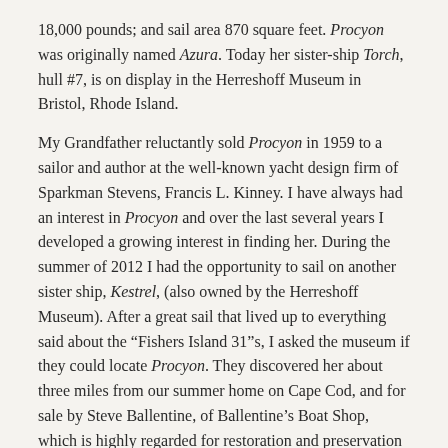18,000 pounds; and sail area 870 square feet. Procyon was originally named Azura. Today her sister-ship Torch, hull #7, is on display in the Herreshoff Museum in Bristol, Rhode Island.
My Grandfather reluctantly sold Procyon in 1959 to a sailor and author at the well-known yacht design firm of Sparkman Stevens, Francis L. Kinney. I have always had an interest in Procyon and over the last several years I developed a growing interest in finding her. During the summer of 2012 I had the opportunity to sail on another sister ship, Kestrel, (also owned by the Herreshoff Museum). After a great sail that lived up to everything said about the “Fishers Island 31”s, I asked the museum if they could locate Procyon. They discovered her about three miles from our summer home on Cape Cod, and for sale by Steve Ballentine, of Ballentine’s Boat Shop, which is highly regarded for restoration and preservation of classic and antique boats. She was in good condition with stunning brightwork, the original teak deck and mast, and a well preserved hull. Fate was knocking; I bought her! (I